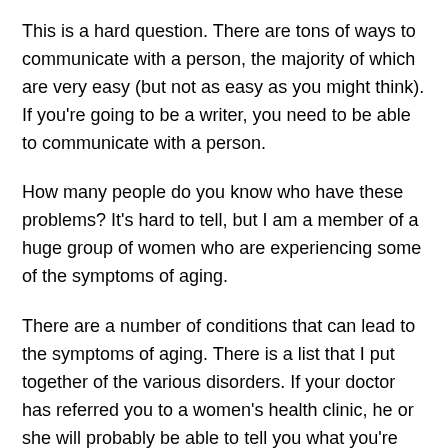This is a hard question. There are tons of ways to communicate with a person, the majority of which are very easy (but not as easy as you might think). If you're going to be a writer, you need to be able to communicate with a person.
How many people do you know who have these problems? It's hard to tell, but I am a member of a huge group of women who are experiencing some of the symptoms of aging.
There are a number of conditions that can lead to the symptoms of aging. There is a list that I put together of the various disorders. If your doctor has referred you to a women's health clinic, he or she will probably be able to tell you what you're dealing with. If you're having trouble finding a doctor, try asking your local library.